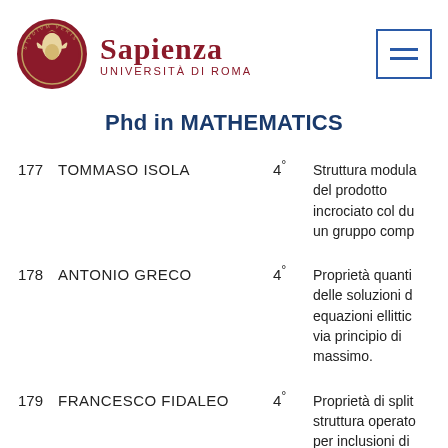[Figure (logo): Sapienza Università di Roma logo with circular emblem and university name]
Phd in MATHEMATICS
177  TOMMASO ISOLA  4°  Struttura modula del prodotto incrociato col du un gruppo comp
178  ANTONIO GRECO  4°  Proprietà quanti delle soluzioni d equazioni ellittic via principio di massimo.
179  FRANCESCO FIDALEO  4°  Proprietà di split struttura operato per inclusioni di algebre di un